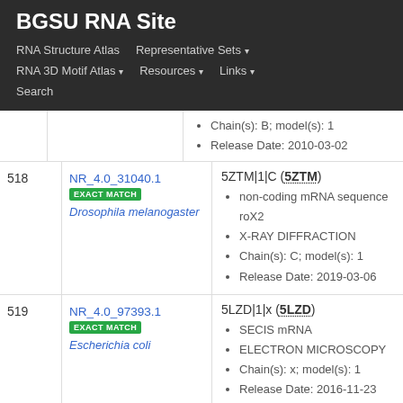BGSU RNA Site
RNA Structure Atlas
Representative Sets
RNA 3D Motif Atlas
Resources
Links
Search
| # | ID | Details |
| --- | --- | --- |
|  |  | Chain(s): B; model(s): 1
Release Date: 2010-03-02 |
| 518 | NR_4.0_31040.1
EXACT MATCH
Drosophila melanogaster | 5ZTM|1|C (5ZTM)
non-coding mRNA sequence roX2
X-RAY DIFFRACTION
Chain(s): C; model(s): 1
Release Date: 2019-03-06 |
| 519 | NR_4.0_97393.1
EXACT MATCH
Escherichia coli | 5LZD|1|x (5LZD)
SECIS mRNA
ELECTRON MICROSCOPY
Chain(s): x; model(s): 1
Release Date: 2016-11-23 |